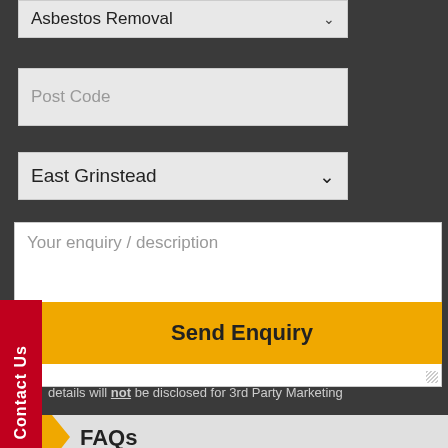Asbestos Removal
Post Code
East Grinstead
Your enquiry / description
Contact Us
Send Enquiry
details will not be disclosed for 3rd Party Marketing
FAQs